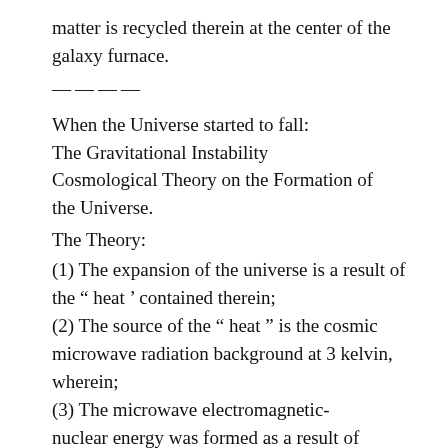matter is recycled therein at the center of the galaxy furnace.
————
When the Universe started to fall: The Gravitational Instability Cosmological Theory on the Formation of the Universe.
The Theory:
(1) The expansion of the universe is a result of the “ heat ’ contained therein;
(2) The source of the “ heat ” is the cosmic microwave radiation background at 3 kelvin, wherein;
(3) The microwave electromagnetic-nuclear energy was formed as a result of the